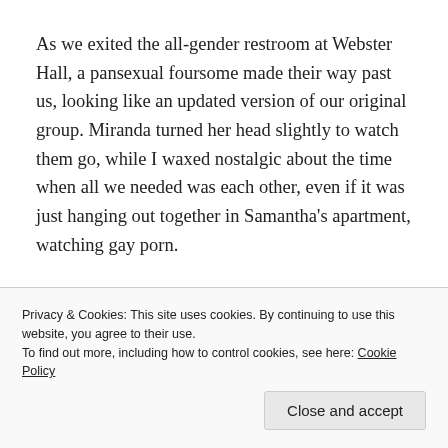As we exited the all-gender restroom at Webster Hall, a pansexual foursome made their way past us, looking like an updated version of our original group. Miranda turned her head slightly to watch them go, while I waxed nostalgic about the time when all we needed was each other, even if it was just hanging out together in Samantha's apartment, watching gay porn.
“The thing I can't wrap my mind around,” Miranda said, her gaze gliding back toward me, “is that he went back into the closet after he changed jobs.”
Privacy & Cookies: This site uses cookies. By continuing to use this website, you agree to their use.
To find out more, including how to control cookies, see here: Cookie Policy
Close and accept